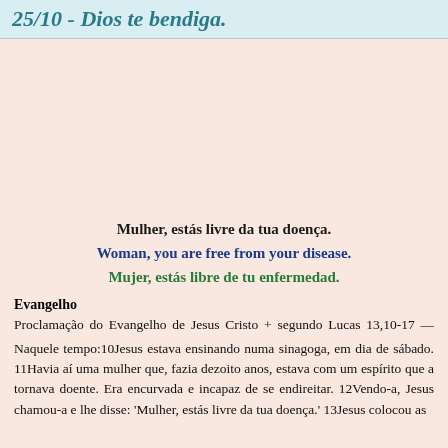25/10 - Dios te bendiga.
Mulher, estás livre da tua doença.
Woman, you are free from your disease.
Mujer, estás libre de tu enfermedad.
Evangelho
Proclamação do Evangelho de Jesus Cristo + segundo Lucas 13,10-17 — Naquele tempo:10Jesus estava ensinando numa sinagoga, em dia de sábado. 11Havia aí uma mulher que, fazia dezoito anos, estava com um espírito que a tornava doente. Era encurvada e incapaz de se endireitar. 12Vendo-a, Jesus chamou-a e lhe disse: 'Mulher, estás livre da tua doença.' 13Jesus colocou as